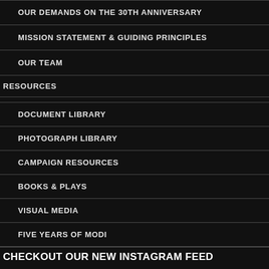OUR DEMANDS ON THE 30TH ANNIVERSARY
MISSION STATEMENT & GUIDING PRINCIPLES
OUR TEAM
RESOURCES
DOCUMENT LIBRARY
PHOTOGRAPH LIBRARY
CAMPAIGN RESOURCES
BOOKS & PLAYS
VISUAL MEDIA
FIVE YEARS OF MODI
CHECKOUT OUR NEW INSTAGRAM FEED